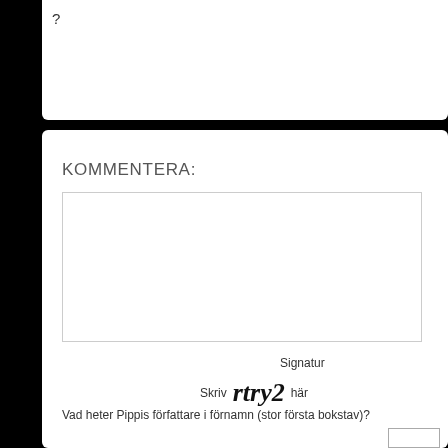?
KOMMENTERA:
[Figure (screenshot): Empty text area input box with light grey border]
Signatur
Skriv rtry2 här
Vad heter Pippis författare i förnamn (stor första bokstav)?